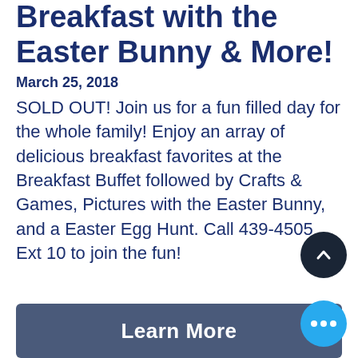Breakfast with the Easter Bunny & More!
March 25, 2018
SOLD OUT! Join us for a fun filled day for the whole family! Enjoy an array of delicious breakfast favorites at the Breakfast Buffet followed by Crafts & Games, Pictures with the Easter Bunny, and a Easter Egg Hunt. Call 439-4505 Ext 10 to join the fun!
Learn More